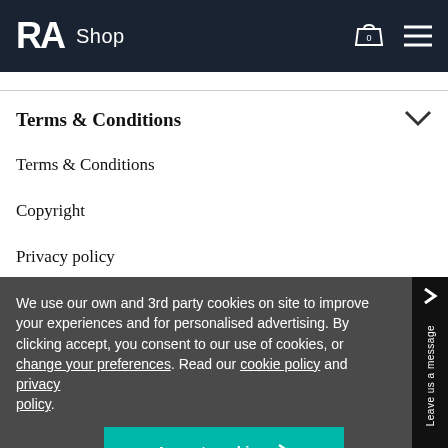RA Shop
Terms & Conditions
Terms & Conditions
Copyright
Privacy policy
We use our own and 3rd party cookies on site to improve your experiences and for personalised advertising. By clicking accept, you consent to our use of cookies, or change your preferences. Read our cookie policy and privacy policy.
Accept cookies >